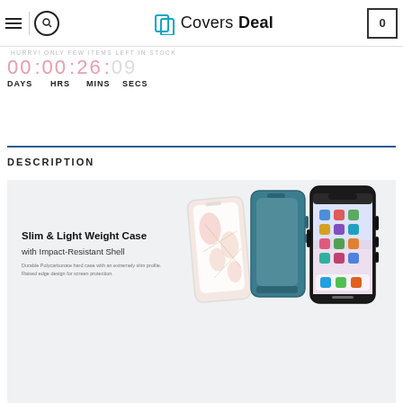Covers Deal
HURRY! ONLY FEW ITEMS LEFT IN STOCK
00 : 00 : 26 : 09
DAYS   HRS   MINS   SECS
DESCRIPTION
[Figure (photo): Product banner showing phone cases: Slim & Light Weight Case with Impact-Resistant Shell. Durable Polycarbonate hard case with an extremely slim profile. Raised edge design for screen protection. Three phone cases shown: pink floral case, teal case, and a smartphone with screen visible.]